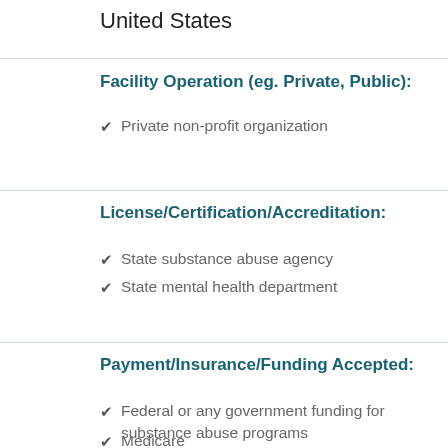United States
Facility Operation (eg. Private, Public):
Private non-profit organization
License/Certification/Accreditation:
State substance abuse agency
State mental health department
Payment/Insurance/Funding Accepted:
Federal or any government funding for substance abuse programs
Medicare